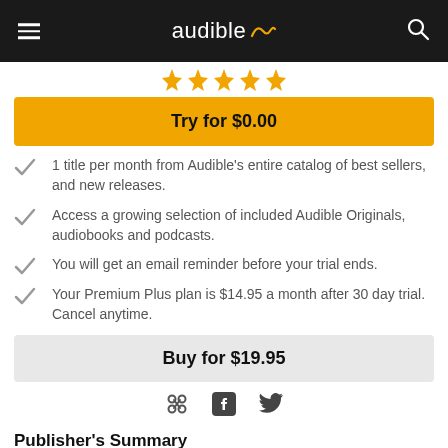audible
[Figure (other): Five gold bookmark/ribbon star rating icons]
Try for $0.00
1 title per month from Audible's entire catalog of best sellers, and new releases.
Access a growing selection of included Audible Originals, audiobooks and podcasts.
You will get an email reminder before your trial ends.
Your Premium Plus plan is $14.95 a month after 30 day trial. Cancel anytime.
Buy for $19.95
[Figure (other): Social sharing icons: link, Facebook, Twitter]
Publisher's Summary
Tonight's forecast calls for terror....